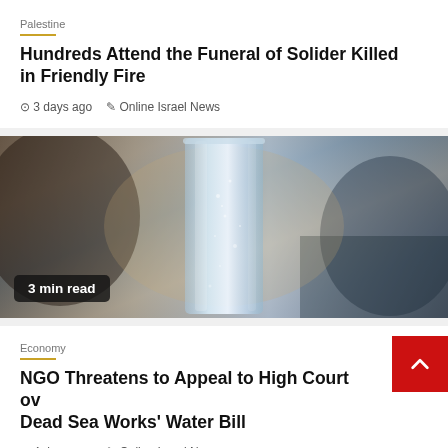Palestine
Hundreds Attend the Funeral of Solider Killed in Friendly Fire
3 days ago   Online Israel News
[Figure (photo): A glass of sparkling water on a dark background, with a '3 min read' badge overlay in the bottom left.]
Economy
NGO Threatens to Appeal to High Court over Dead Sea Works' Water Bill
4 days ago   Online Israel News